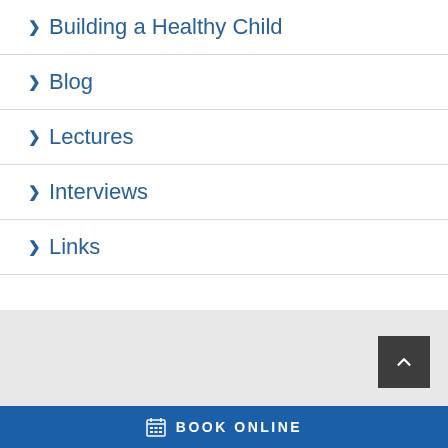> Building a Healthy Child
> Blog
> Lectures
> Interviews
> Links
BOOK ONLINE